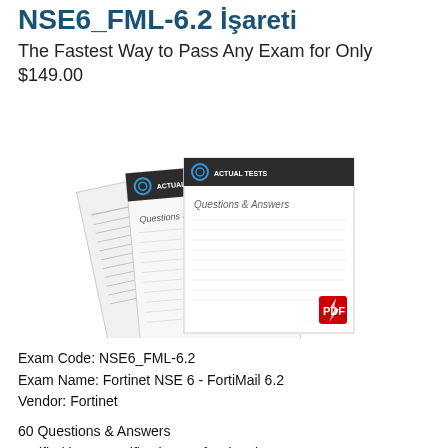NSE6_FML-6.2 Sınav Soruları ve Cevapları - %0 İşareti
The Fastest Way to Pass Any Exam for Only $149.00
[Figure (photo): Product image showing stacked document pages with 'Questions & Answers' and 'Actual Tests' branding, with a PDF icon in the corner]
Exam Code: NSE6_FML-6.2
Exam Name: Fortinet NSE 6 - FortiMail 6.2
Vendor: Fortinet
60 Questions & Answers
Verified by IT Certification Professionals